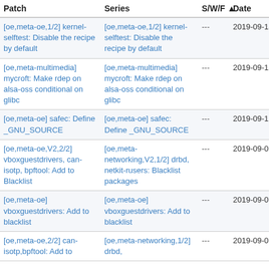| Patch | Series | S/W/F ▲ Date |
| --- | --- | --- |
| [oe,meta-oe,1/2] kernel-selftest: Disable the recipe by default | [oe,meta-oe,1/2] kernel-selftest: Disable the recipe by default | --- | 2019-09-18 |
| [oe,meta-multimedia] mycroft: Make rdep on alsa-oss conditional on glibc | [oe,meta-multimedia] mycroft: Make rdep on alsa-oss conditional on glibc | --- | 2019-09-12 |
| [oe,meta-oe] safec: Define _GNU_SOURCE | [oe,meta-oe] safec: Define _GNU_SOURCE | --- | 2019-09-11 |
| [oe,meta-oe,V2,2/2] vboxguestdrivers, can-isotp, bpftool: Add to Blacklist | [oe,meta-networking,V2,1/2] drbd, netkit-rusers: Blacklist packages | --- | 2019-09-07 |
| [oe,meta-oe] vboxguestdrivers: Add to blacklist | [oe,meta-oe] vboxguestdrivers: Add to blacklist | --- | 2019-09-07 |
| [oe,meta-oe,2/2] can-isotp,bpftool: Add to | [oe,meta-networking,1/2] drbd, | --- | 2019-09-07 |